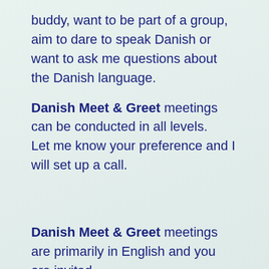buddy, want to be part of a group, aim to dare to speak Danish or want to ask me questions about the Danish language.
Danish Meet & Greet meetings can be conducted in all levels.
Let me know your preference and I will set up a call.
Danish Meet & Greet meetings are primarily in English and you are invited